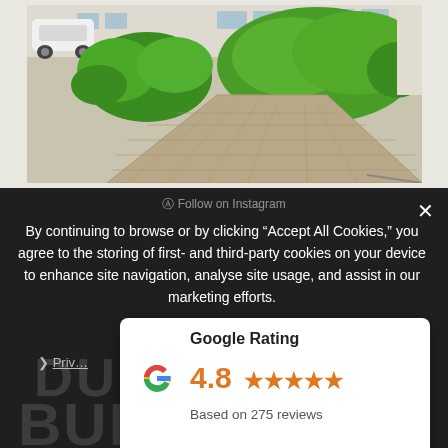[Figure (photo): Aerial/elevated view of a residential property driveway with hedges and a white car parked to the left, cream-colored building in background]
Follow on Instagram
By continuing to browse or by clicking “Accept All Cookies,” you agree to the storing of first- and third-party cookies on your device to enhance site navigation, analyse site usage, and assist in our marketing efforts.
Priv…
[Figure (infographic): Google Rating card showing 4.8 stars based on 275 reviews, with Google G logo]